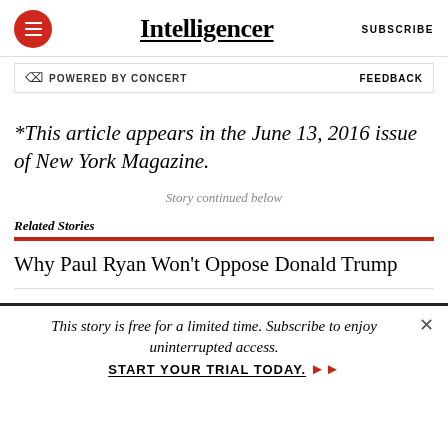Intelligencer
POWERED BY CONCERT   FEEDBACK
*This article appears in the June 13, 2016 issue of New York Magazine.
Story continued below
Related Stories
Why Paul Ryan Won't Oppose Donald Trump
This story is free for a limited time. Subscribe to enjoy uninterrupted access. START YOUR TRIAL TODAY.